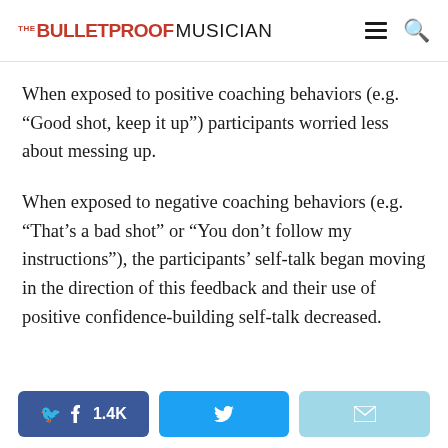THE BULLETPROOF MUSICIAN
When exposed to positive coaching behaviors (e.g. “Good shot, keep it up”) participants worried less about messing up.
When exposed to negative coaching behaviors (e.g. “That’s a bad shot” or “You don’t follow my instructions”), the participants’ self-talk began moving in the direction of this feedback and their use of positive confidence-building self-talk decreased.
Facebook 1.4K | Twitter | Email